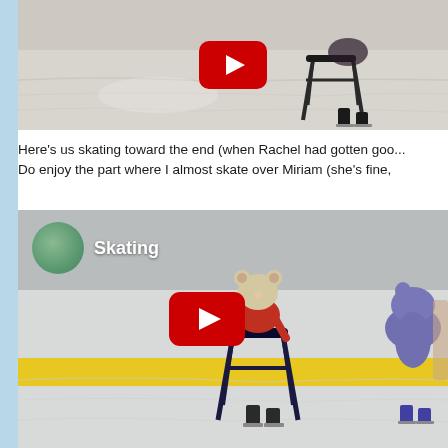[Figure (screenshot): YouTube video embed showing a child ice skating with a walker/chair aid on an ice rink. A red YouTube play button is visible in the center.]
Here's us skating toward the end (when Rachel had gotten goo... Do enjoy the part where I almost skate over Miriam (she's fine,
[Figure (screenshot): YouTube video embed titled 'Skating' showing a child in a red jacket and animal hat pushing a chair/walker on an ice rink, with another child visible on the right. A red YouTube play button is visible in the center. A circular profile picture is shown in the top left.]